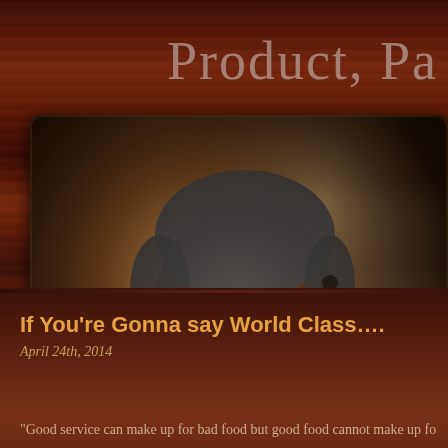Product, Pa
[Figure (photo): A chef in a white uniform with a name tag reading 'Jerry San' leaning forward and concentrating, photographed in a kitchen setting with warm lighting]
If You're Gonna say World Class….
April 24th, 2014
“Good service can make up for bad food but good food cannot make up fo